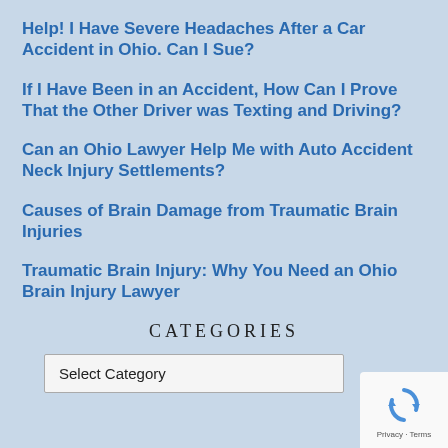Help! I Have Severe Headaches After a Car Accident in Ohio. Can I Sue?
If I Have Been in an Accident, How Can I Prove That the Other Driver was Texting and Driving?
Can an Ohio Lawyer Help Me with Auto Accident Neck Injury Settlements?
Causes of Brain Damage from Traumatic Brain Injuries
Traumatic Brain Injury: Why You Need an Ohio Brain Injury Lawyer
CATEGORIES
Select Category
[Figure (logo): reCAPTCHA badge with recycling-arrow icon and Privacy - Terms text]